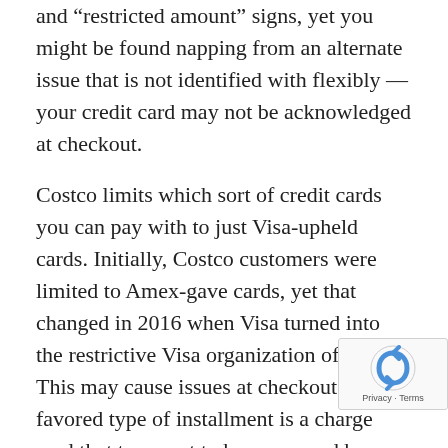and "restricted amount" signs, yet you might be found napping from an alternate issue that is not identified with flexibly — your credit card may not be acknowledged at checkout.
Costco limits which sort of credit cards you can pay with to just Visa-upheld cards. Initially, Costco customers were limited to Amex-gave cards, yet that changed in 2016 when Visa turned into the restrictive Visa organization of Costco. This may cause issues at checkout if your favored type of installment is a charge card that turns out to be sponsored by an alternate organization.
If you want to know more about what credit
[Figure (other): reCAPTCHA badge with Privacy and Terms links]